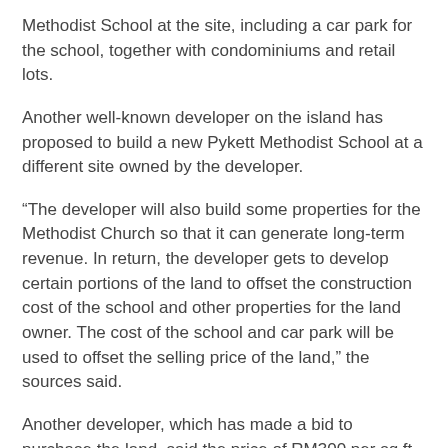Methodist School at the site, including a car park for the school, together with condominiums and retail lots.
Another well-known developer on the island has proposed to build a new Pykett Methodist School at a different site owned by the developer.
“The developer will also build some properties for the Methodist Church so that it can generate long-term revenue. In return, the developer gets to develop certain portions of the land to offset the construction cost of the school and other properties for the land owner. The cost of the school and car park will be used to offset the selling price of the land,” the sources said.
Another developer, which has made a bid to purchase the land, said the price of RM300 per sq ft was on the high side.
“Land in the area is priced around RM200 to RM250 per sq ft. At present, the site is gazetted as institutional land and needs to be converted for other usage. The commercial enhancement value charge, for example, is about 50% of the